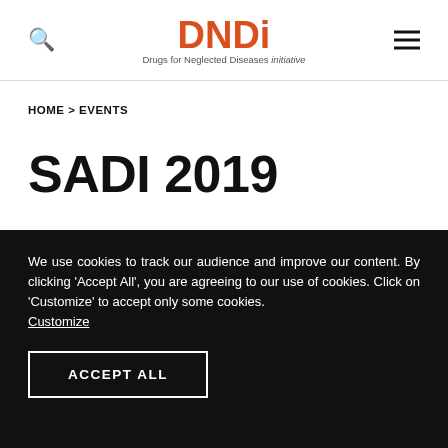[Figure (logo): DNDi logo - Drugs for Neglected Diseases initiative]
HOME > EVENTS
SADI 2019
9-11 MAY 2019
We use cookies to track our audience and improve our content. By clicking 'Accept All', you are agreeing to our use of cookies. Click on 'Customize' to accept only some cookies. Customize
ACCEPT ALL